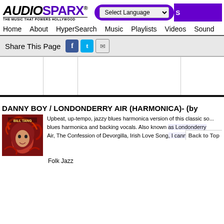[Figure (logo): AudioSparx logo with tagline 'THE MUSIC THAT POWERS HOLLYWOOD']
Select Language | Search
Home  About  HyperSearch  Music  Playlists  Videos  Sound
Share This Page
[Figure (screenshot): Advertisement banner area with vertical column dividers and black bar at bottom]
DANNY BOY / LONDONDERRY AIR (HARMONICA)- (by
[Figure (illustration): Album art for Bill Tang showing illustrated woman with red swirling hair on dark red background]
Upbeat, up-tempo, jazzy blues harmonica version of this classic so... blues harmonica and backing vocals. Also known as Londonderry Air, The Confession of Devorgilla, Irish Love Song, I cannot tell, I y
Back to Top
Folk Jazz